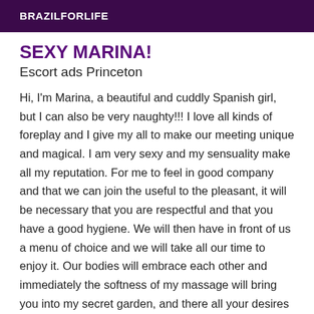BRAZILFORLIFE
SEXY MARINA!
Escort ads Princeton
Hi, I'm Marina, a beautiful and cuddly Spanish girl, but I can also be very naughty!!! I love all kinds of foreplay and I give my all to make our meeting unique and magical. I am very sexy and my sensuality make all my reputation. For me to feel in good company and that we can join the useful to the pleasant, it will be necessary that you are respectful and that you have a good hygiene. We will then have in front of us a menu of choice and we will take all our time to enjoy it. Our bodies will embrace each other and immediately the softness of my massage will bring you into my secret garden, and there all your desires will be fulfilled. I will make you discover what is most extraordinary in you. I am with you to share the sensations that you have always dreamed of knowing. I embrace you and my